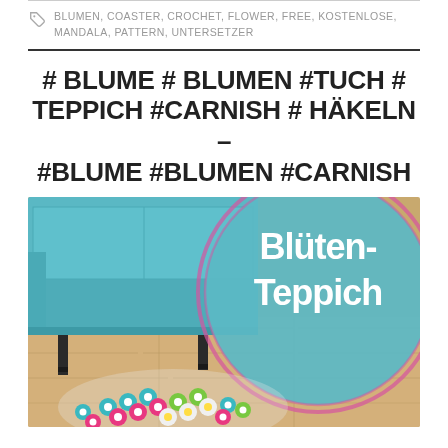BLUMEN, COASTER, CROCHET, FLOWER, FREE, KOSTENLOSE, MANDALA, PATTERN, UNTERSETZER
# BLUME # BLUMEN #TUCH # TEPPICH #CARNISH # HÄKELN – #BLUME #BLUMEN #CARNISH
[Figure (photo): Photo of a teal/turquoise sofa with dark wooden legs on a wood-plank floor, with a colorful crocheted flower rug (Blütenteppich) partially visible in the foreground. A circular graphic overlay in teal with pink border shows the text 'Blüten-Teppich' in white bold letters.]